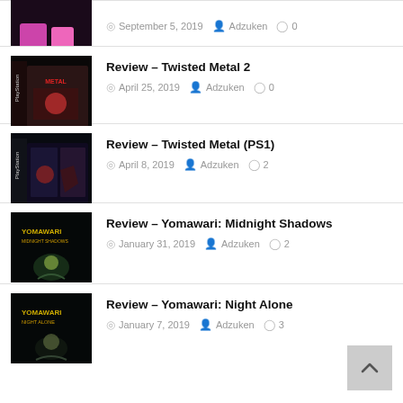September 5, 2019 · Adzuken · 0 comments
Review – Twisted Metal 2
April 25, 2019 · Adzuken · 0 comments
Review – Twisted Metal (PS1)
April 8, 2019 · Adzuken · 2 comments
Review – Yomawari: Midnight Shadows
January 31, 2019 · Adzuken · 2 comments
Review – Yomawari: Night Alone
January 7, 2019 · Adzuken · 3 comments